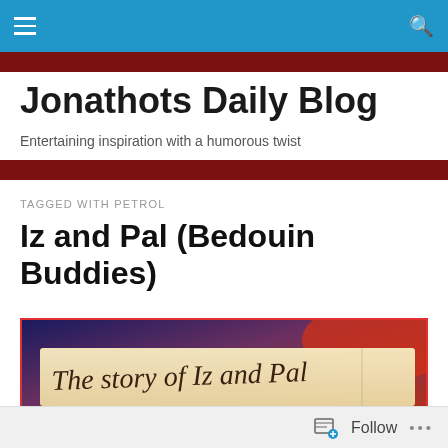Jonathots Daily Blog — navigation bar
Jonathots Daily Blog
Entertaining inspiration with a humorous twist
TAGGED WITH PETROL
Iz and Pal (Bedouin Buddies)
[Figure (photo): Book or card with handwritten cursive text reading 'The story of Iz and Pal', with colorful red and blue background.]
Follow  •••